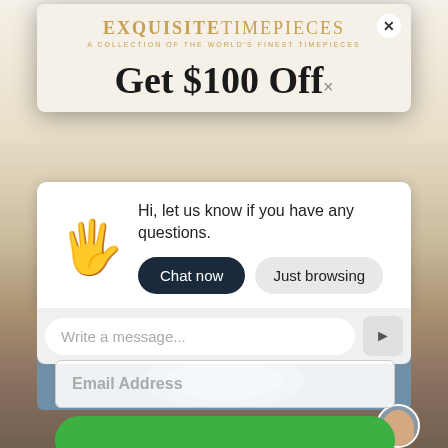[Figure (screenshot): Background showing a luxury watch with blue leather strap on a beige surface, partially obscured by overlaid UI elements]
EXQUISITETIMEPIECES
A COLLECTION OF THE WORLD'S FINEST TIMEPIECES
Get $100 Off×
Hi, let us know if you have any questions.
Chat now | Just browsing
Write a message...
Email Address